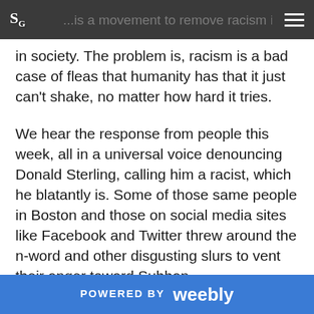SG [logo] ...is a movement to remove racism in sports and...
in society. The problem is, racism is a bad case of fleas that humanity has that it just can't shake, no matter how hard it tries.
We hear the response from people this week, all in a universal voice denouncing Donald Sterling, calling him a racist, which he blatantly is. Some of those same people in Boston and those on social media sites like Facebook and Twitter threw around the n-word and other disgusting slurs to vent their anger toward Subban.
Just another case of hypocrisy and double standards that continue to plaque the war to end racism, much like the war on drugs that many are still fighting over
POWERED BY weebly